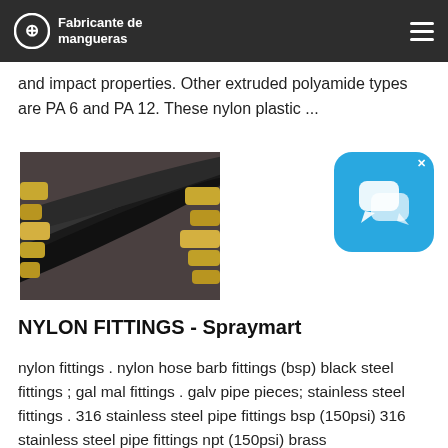Fabricante de mangueras
and impact properties. Other extruded polyamide types are PA 6 and PA 12. These nylon plastic ...
[Figure (photo): Bundle of black hydraulic hoses with brass/steel fittings]
[Figure (other): Blue chat/messaging app icon widget with X close button]
NYLON FITTINGS - Spraymart
nylon fittings . nylon hose barb fittings (bsp) black steel fittings ; gal mal fittings . galv pipe pieces; stainless steel fittings . 316 stainless steel pipe fittings bsp (150psi) 316 stainless steel pipe fittings npt (150psi) brass